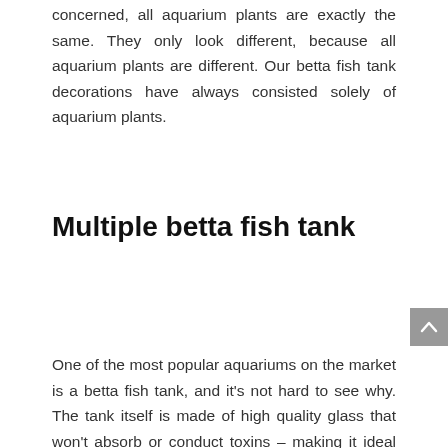concerned, all aquarium plants are exactly the same. They only look different, because all aquarium plants are different. Our betta fish tank decorations have always consisted solely of aquarium plants.
Multiple betta fish tank
One of the most popular aquariums on the market is a betta fish tank, and it's not hard to see why. The tank itself is made of high quality glass that won't absorb or conduct toxins – making it ideal for various betta fish species. There are